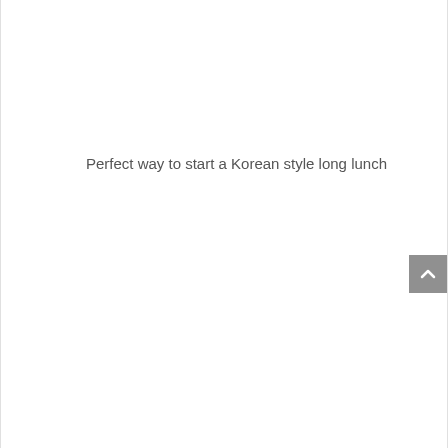Perfect way to start a Korean style long lunch